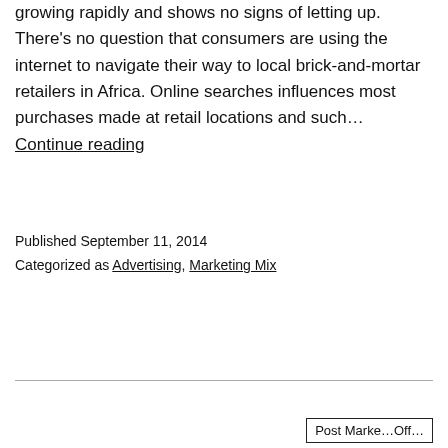growing rapidly and shows no signs of letting up. There's no question that consumers are using the internet to navigate their way to local brick-and-mortar retailers in Africa. Online searches influences most purchases made at retail locations and such… Continue reading
Published September 11, 2014
Categorized as Advertising, Marketing Mix